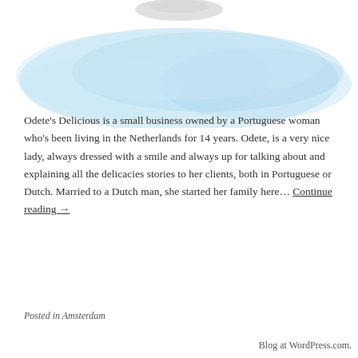[Figure (illustration): Watercolor splash background in light blue with a partial image of a dish or plate at the top center]
Odete's Delicious is a small business owned by a Portuguese woman who's been living in the Netherlands for 14 years. Odete, is a very nice lady, always dressed with a smile and always up for talking about and explaining all the delicacies stories to her clients, both in Portuguese or Dutch. Married to a Dutch man, she started her family here… Continue reading →
Posted in Amsterdam
Blog at WordPress.com.